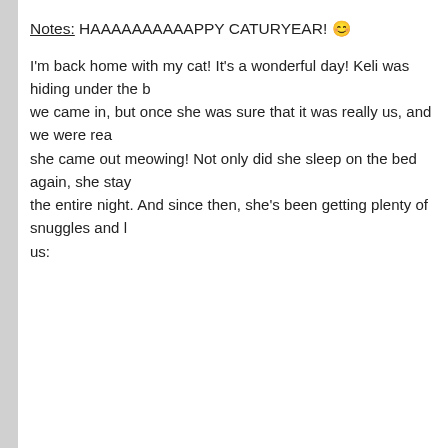Notes: HAAAAAAAAAAPPY CATURYEAR! 🙂
I'm back home with my cat! It's a wonderful day! Keli was hiding under the b we came in, but once she was sure that it was really us, and we were rea she came out meowing! Not only did she sleep on the bed again, she stay the entire night. And since then, she's been getting plenty of snuggles and l us: